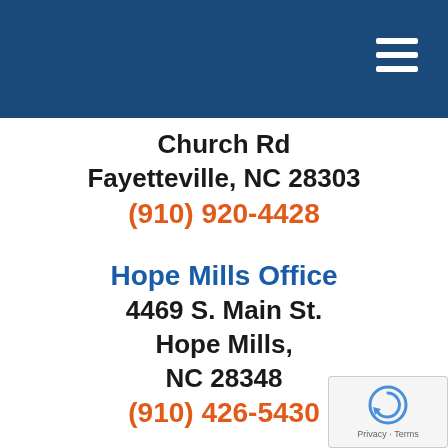Navigation header bar with hamburger menu
Church Rd
Fayetteville, NC 28303
(910) 920-4428
Hope Mills Office
4469 S. Main St.
Hope Mills,
NC 28348
(910) 426-5430
Raeford Office
142 Paraclete Dr.
Raeford,